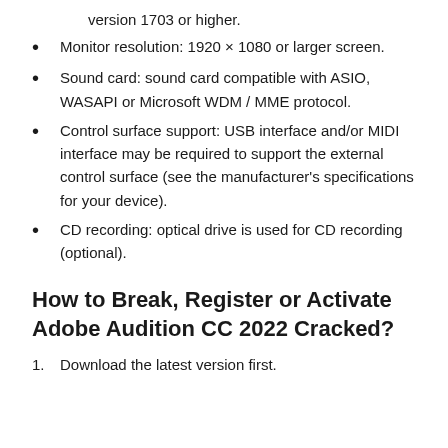version 1703 or higher.
Monitor resolution: 1920 × 1080 or larger screen.
Sound card: sound card compatible with ASIO, WASAPI or Microsoft WDM / MME protocol.
Control surface support: USB interface and/or MIDI interface may be required to support the external control surface (see the manufacturer's specifications for your device).
CD recording: optical drive is used for CD recording (optional).
How to Break, Register or Activate Adobe Audition CC 2022 Cracked?
Download the latest version first.